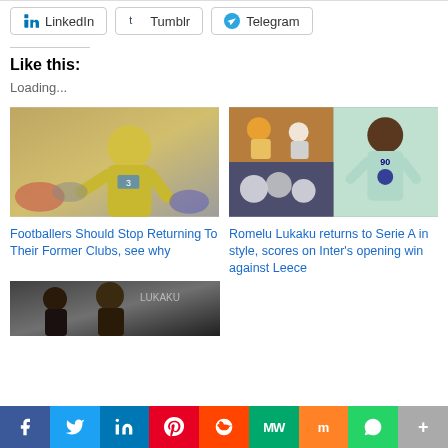LinkedIn  Tumblr  Telegram
Like this:
Loading...
[Figure (photo): Footballer in yellow Chelsea kit looking upward, crowd in background]
Footballers Should Stop Returning To Their Former Clubs, see why
[Figure (photo): Romelu Lukaku in Inter Milan white/teal kit, collage with match action]
Romelu Lukaku returns to Serie A in style, scores on Inter's opening win against Leece
[Figure (photo): Partial bottom preview image of footballers]
f  Twitter  in  Pinterest  Reddit  MW  Mix  WhatsApp  More